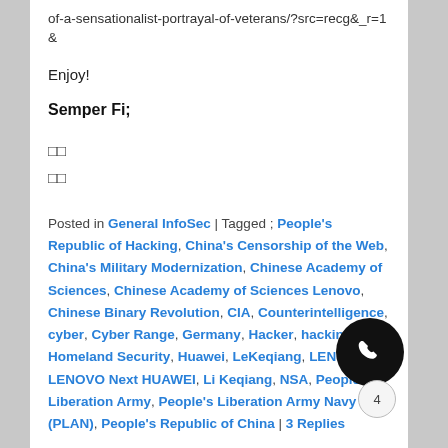of-a-sensationalist-portrayal-of-veterans/?src=recg&_r=1&
Enjoy!
Semper Fi;
□□
□□
Posted in General InfoSec | Tagged ; People's Republic of Hacking, China's Censorship of the Web, China's Military Modernization, Chinese Academy of Sciences, Chinese Academy of Sciences Lenovo, Chinese Binary Revolution, CIA, Counterintelligence, cyber, Cyber Range, Germany, Hacker, hacking, Homeland Security, Huawei, LeKeqiang, LENOVO, LENOVO Next HUAWEI, Li Keqiang, NSA, People's Liberation Army, People's Liberation Army Navy (PLAN), People's Republic of China | 3 Replies
Cyber & Information